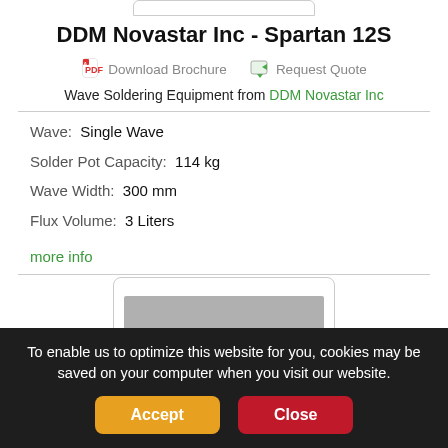DDM Novastar Inc - Spartan 12S
Download Brochure   Request Quote
Wave Soldering Equipment from DDM Novastar Inc
Wave:  Single Wave
Solder Pot Capacity:  114 kg
Wave Width:  300 mm
Flux Volume:  3 Liters
more info
[Figure (photo): Product image card placeholder with gray background]
To enable us to optimize this website for you, cookies may be saved on your computer when you visit our website.